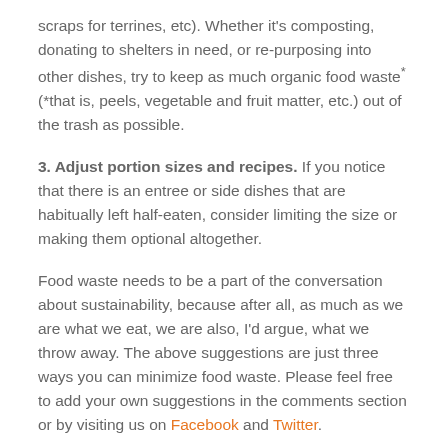scraps for terrines, etc). Whether it's composting, donating to shelters in need, or re-purposing into other dishes, try to keep as much organic food waste* (*that is, peels, vegetable and fruit matter, etc.) out of the trash as possible.
3. Adjust portion sizes and recipes. If you notice that there is an entree or side dishes that are habitually left half-eaten, consider limiting the size or making them optional altogether.
Food waste needs to be a part of the conversation about sustainability, because after all, as much as we are what we eat, we are also, I'd argue, what we throw away. The above suggestions are just three ways you can minimize food waste. Please feel free to add your own suggestions in the comments section or by visiting us on Facebook and Twitter.
Sources: